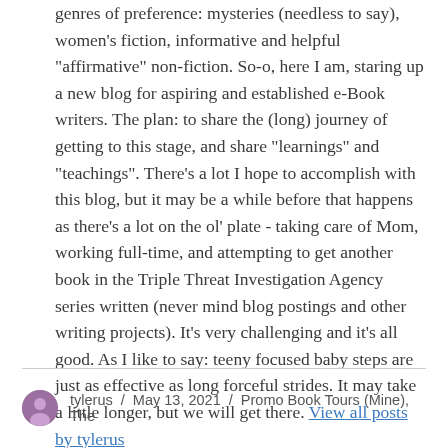genres of preference: mysteries (needless to say), women's fiction, informative and helpful "affirmative" non-fiction. So-o, here I am, staring up a new blog for aspiring and established e-Book writers. The plan: to share the (long) journey of getting to this stage, and share "learnings" and "teachings". There's a lot I hope to accomplish with this blog, but it may be a while before that happens as there's a lot on the ol' plate - taking care of Mom, working full-time, and attempting to get another book in the Triple Threat Investigation Agency series written (never mind blog postings and other writing projects). It's very challenging and it's all good. As I like to say: teeny focused baby steps are just as effective as long forceful strides. It may take a little longer, but we will get there. View all posts by tylerus
tylerus / May 13, 2021 / Promo Book Tours (Mine), The